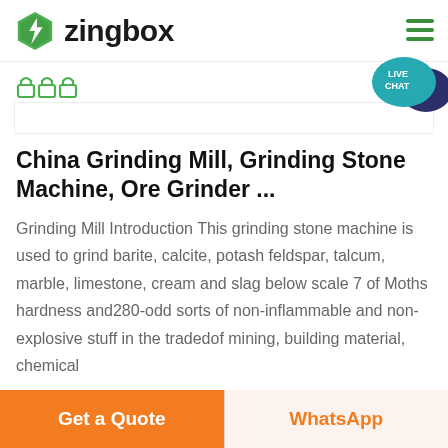[Figure (logo): Zingbox logo with green hexagon lightning bolt icon and bold 'zingbox' text]
[Figure (screenshot): Green lock/security icons row below header]
China Grinding Mill, Grinding Stone Machine, Ore Grinder ...
Grinding Mill Introduction This grinding stone machine is used to grind barite, calcite, potash feldspar, talcum, marble, limestone, cream and slag below scale 7 of Moths hardness and280-odd sorts of non-inflammable and non-explosive stuff in the tradedof mining, building material, chemical